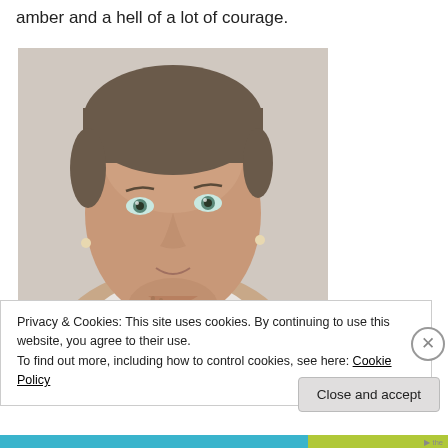amber and a hell of a lot of courage.
[Figure (photo): Close-up portrait photo of a woman with short gray-brown hair, blue-green eyes, wearing a white top, resting her chin on her hand, looking at the camera with a slight smile. Light gray background.]
Privacy & Cookies: This site uses cookies. By continuing to use this website, you agree to their use.
To find out more, including how to control cookies, see here: Cookie Policy
Close and accept